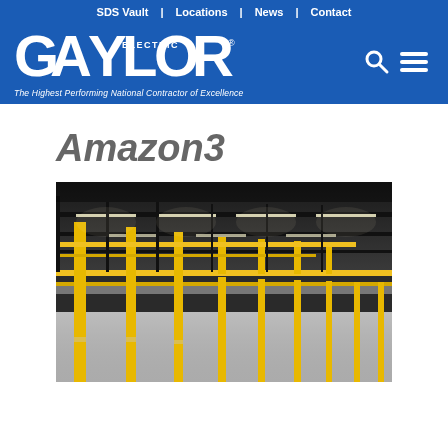SDS Vault | Locations | News | Contact
[Figure (logo): Gaylor Electric logo — large white bold condensed text 'GAYLOR' with 'ELECTRIC' inset, on blue background. Tagline: The Highest Performing National Contractor of Excellence]
Amazon3
[Figure (photo): Interior of a large warehouse/fulfillment center with yellow structural columns and mezzanine railings, concrete floor, dark ceiling with fluorescent strip lighting]